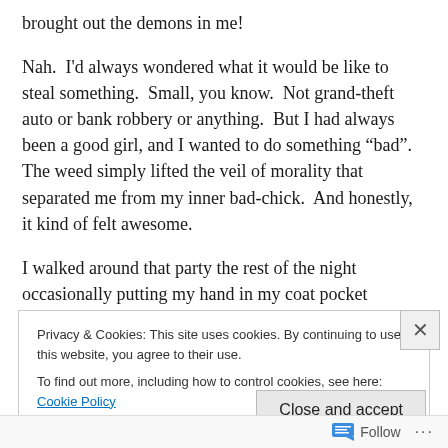brought out the demons in me!
Nah.  I'd always wondered what it would be like to steal something.  Small, you know.  Not grand-theft auto or bank robbery or anything.  But I had always been a good girl, and I wanted to do something “bad”.  The weed simply lifted the veil of morality that separated me from my inner bad-chick.  And honestly, it kind of felt awesome.
I walked around that party the rest of the night occasionally putting my hand in my coat pocket touching
Privacy & Cookies: This site uses cookies. By continuing to use this website, you agree to their use.
To find out more, including how to control cookies, see here: Cookie Policy
Close and accept
Follow ...